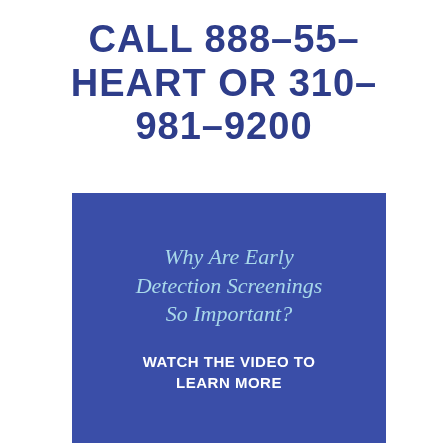CALL 888-55-HEART OR 310-981-9200
[Figure (infographic): Blue rectangular box containing italic light-blue heading 'Why Are Early Detection Screenings So Important?' and white bold uppercase text 'WATCH THE VIDEO TO LEARN MORE']